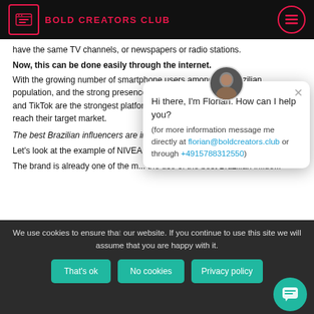BOLD CREATORS CLUB
have the same TV channels, or newspapers or radio stations.
Now, this can be done easily through the internet.
With the growing number of smartphone users among the Brazilian population, and the strong presence on social media (Instagram, Facebook and TikTok are the strongest platforms for Brazilians), companies can easily reach their target market.
The best Brazilian influencers are im...
Let's look at the example of NIVEA...
The brand is already one of the m... the use of the best Brazilian influe...
[Figure (screenshot): Chat popup from Florian with greeting: Hi there, I'm Florian. How can I help you? (for more information message me directly at florian@boldcreators.club or through +4915788312550)]
We use cookies to ensure tha... our website. If you continue to use this site we will assume that you are happy with it.
That's ok | No cookies | Privacy policy